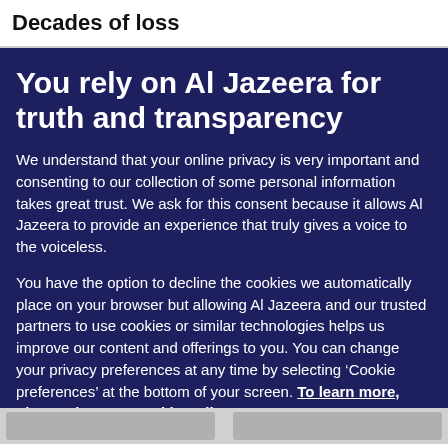Decades of loss
You rely on Al Jazeera for truth and transparency
We understand that your online privacy is very important and consenting to our collection of some personal information takes great trust. We ask for this consent because it allows Al Jazeera to provide an experience that truly gives a voice to the voiceless.
You have the option to decline the cookies we automatically place on your browser but allowing Al Jazeera and our trusted partners to use cookies or similar technologies helps us improve our content and offerings to you. You can change your privacy preferences at any time by selecting ‘Cookie preferences’ at the bottom of your screen. To learn more, please view our Cookie Policy.